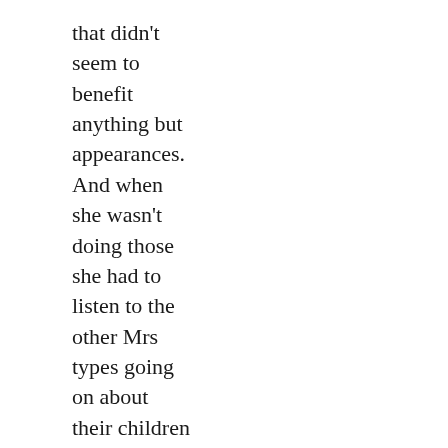that didn't seem to benefit anything but appearances. And when she wasn't doing those she had to listen to the other Mrs types going on about their children or their